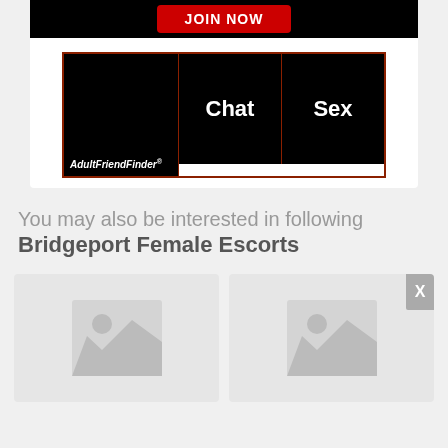[Figure (screenshot): AdultFriendFinder banner ad with black background showing Chat and Sex labels, and a Join Now red button at top]
You may also be interested in following Bridgeport Female Escorts
[Figure (photo): Two placeholder image cards with image icons]